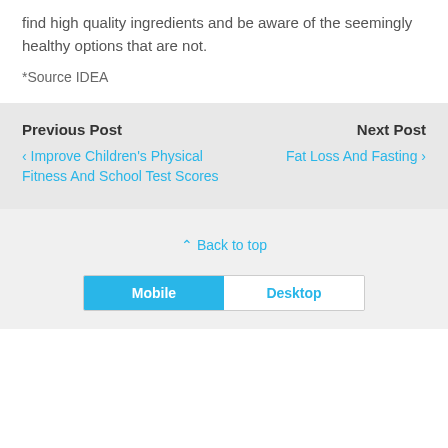find high quality ingredients and be aware of the seemingly healthy options that are not.
*Source IDEA
Previous Post
< Improve Children's Physical Fitness And School Test Scores
Next Post
Fat Loss And Fasting >
^ Back to top
Mobile  Desktop